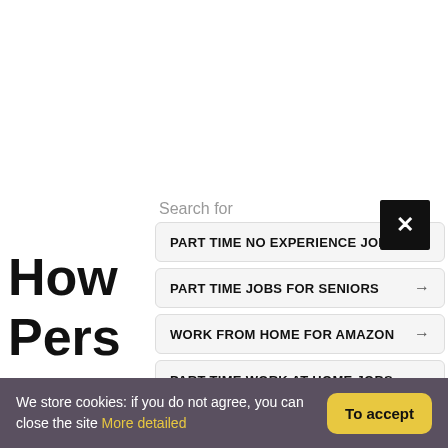How to Make Personal ...
Personal ... Many
Search for
PART TIME NO EXPERIENCE JOBS →
PART TIME JOBS FOR SENIORS →
WORK FROM HOME FOR AMAZON →
PART TIME WORK AT HOME JOBS →
We store cookies: if you do not agree, you can close the site More detailed
To accept